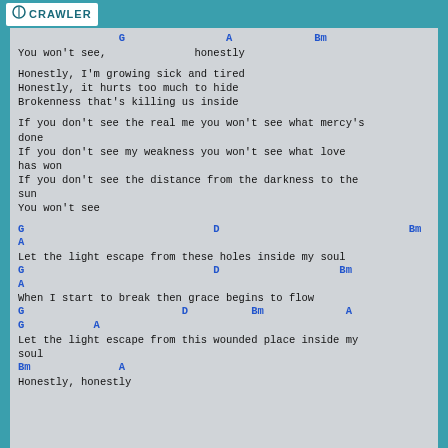CRAWLER
G                A             Bm
You won't see,              honestly
Honestly, I'm growing sick and tired
Honestly, it hurts too much to hide
Brokenness that's killing us inside
If you don't see the real me you won't see what mercy's done
If you don't see my weakness you won't see what love has won
If you don't see the distance from the darkness to the sun
You won't see
G                              D                              Bm
A
Let the light escape from these holes inside my soul
G                              D                   Bm
A
When I start to break then grace begins to flow
G                         D          Bm             A
G           A
Let the light escape from this wounded place inside my soul
Bm              A
Honestly, honestly